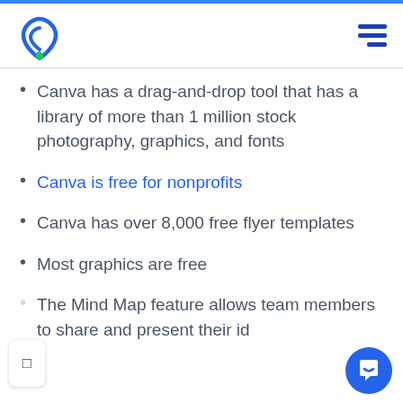[Figure (logo): Heart/leaf logo in blue and green]
Canva has a drag-and-drop tool that has a library of more than 1 million stock photography, graphics, and fonts
Canva is free for nonprofits
Canva has over 8,000 free flyer templates
Most graphics are free
The Mind Map feature allows team members to share and present their id…